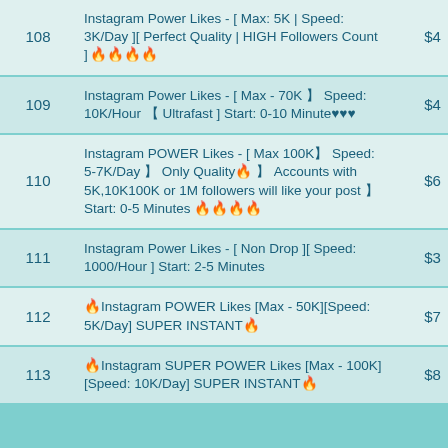| # | Description | Price |
| --- | --- | --- |
| 108 | Instagram Power Likes - [ Max: 5K | Speed: 3K/Day ][ Perfect Quality | HIGH Followers Count ] 🔥🔥🔥🔥 | $4 |
| 109 | Instagram Power Likes - [ Max - 70K 】 Speed: 10K/Hour 【 Ultrafast ] Start: 0-10 Minute♥♥♥ | $4 |
| 110 | Instagram POWER Likes - [ Max 100K】 Speed: 5-7K/Day 】 Only Quality🔥 】 Accounts with 5K,10K100K or 1M followers will like your post 】 Start: 0-5 Minutes 🔥🔥🔥🔥 | $6 |
| 111 | Instagram Power Likes - [ Non Drop ][ Speed: 1000/Hour ] Start: 2-5 Minutes | $3 |
| 112 | 🔥Instagram POWER Likes [Max - 50K][Speed: 5K/Day] SUPER INSTANT🔥 | $7 |
| 113 | 🔥Instagram SUPER POWER Likes [Max - 100K][Speed: 10K/Day] SUPER INSTANT🔥 | $8 |